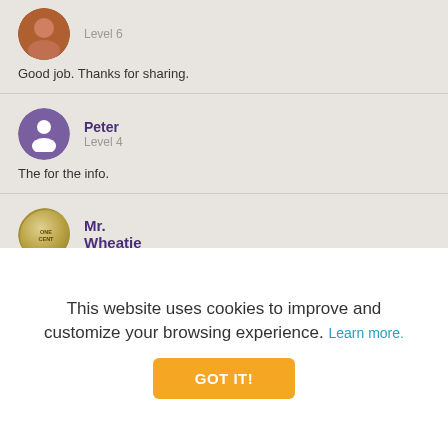[Figure (photo): User avatar photo (circular, small profile picture)]
Level 6
Good job. Thanks for sharing.
[Figure (illustration): Purple person silhouette avatar icon for user Peter]
Peter
Level 4
The for the info.
[Figure (photo): Coin avatar image for Mr. Wheatie showing 'ONE CENT' coin]
Mr.
Wheatie
This website uses cookies to improve and customize your browsing experience. Learn more.
GOT IT!